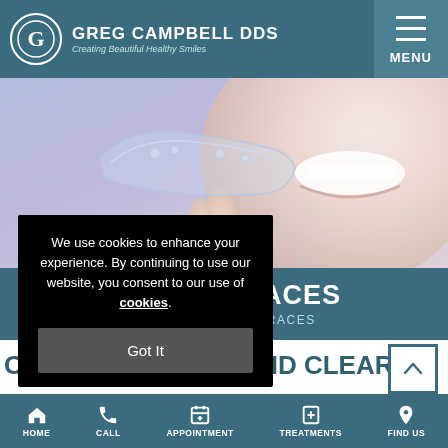GREG CAMPBELL DDS — Creating Beautiful Healthy Smiles
[Figure (screenshot): Hero image of a person holding a clear dental aligner with a smiling person in the background, purple-lavender background]
R BRACES
CLEAR BRACES
We use cookies to enhance your experience. By continuing to use our website, you consent to our use of cookies.
Got It
CLEAR ALIGNERS AND CLEAR
HOME  CALL  APPOINTMENT  TREATMENTS  FIND US